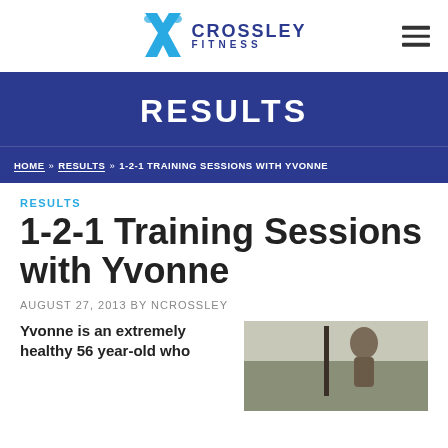Crossley Fitness — site header with logo and hamburger menu
RESULTS
HOME » RESULTS » 1-2-1 TRAINING SESSIONS WITH YVONNE
RESULTS
1-2-1 Training Sessions with Yvonne
AUGUST 27, 2013 BY NCROSSLEY
Yvonne is an extremely healthy 56 year-old who
[Figure (photo): Photo of a person outdoors, upper body visible, natural background]